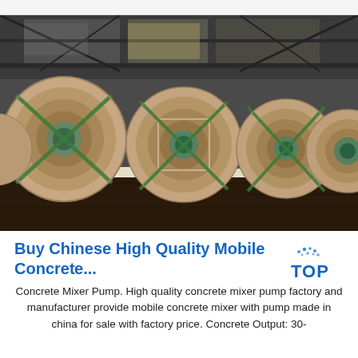[Figure (photo): Industrial warehouse interior showing large rolls of steel coils wrapped in brown paper/cardboard packaging with green straps, placed on white wooden pallets on a dark concrete floor. Overhead steel structure visible in background.]
Buy Chinese High Quality Mobile Concrete...
Concrete Mixer Pump. High quality concrete mixer pump factory and manufacturer provide mobile concrete mixer with pump made in china for sale with factory price. Concrete Output: 30-